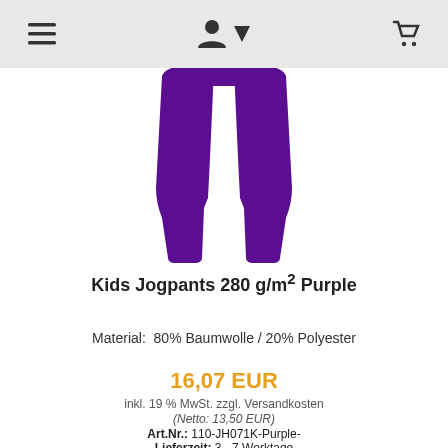≡  👤↓  🛒
[Figure (photo): Purple kids jogpants shown as flat lay, two legs visible, dark purple color]
Kids Jogpants 280 g/m² Purple
Material:  80% Baumwolle / 20% Polyester
16,07 EUR
inkl. 19 % MwSt. zzgl. Versandkosten
(Netto: 13,50 EUR)
Art.Nr.: 110-JH071K-Purple-
Lieferzeit: 3 - 7 Werktage